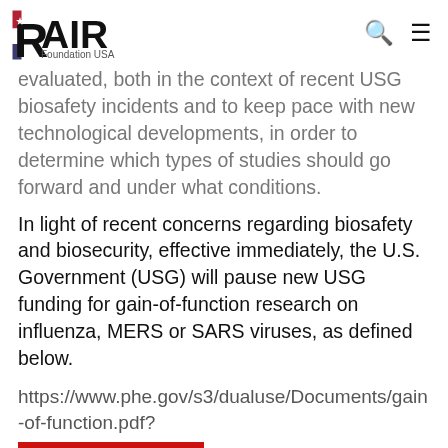RAIR Foundation USA
evaluated, both in the context of recent USG biosafety incidents and to keep pace with new technological developments, in order to determine which types of studies should go forward and under what conditions.
In light of recent concerns regarding biosafety and biosecurity, effective immediately, the U.S. Government (USG) will pause new USG funding for gain-of-function research on influenza, MERS or SARS viruses, as defined below.
https://www.phe.gov/s3/dualuse/Documents/gain-of-function.pdf?_pNPk1sfJUGmlziukIX3c6YCMh0_shKkU6eXUrXU